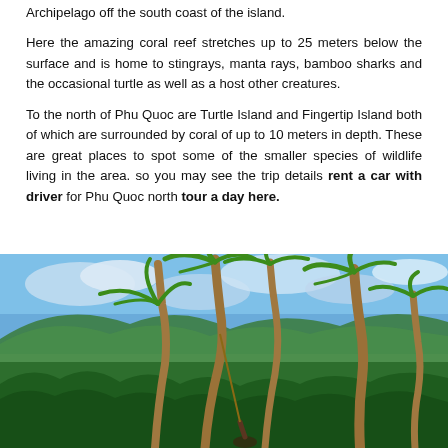Archipelago off the south coast of the island.
Here the amazing coral reef stretches up to 25 meters below the surface and is home to stingrays, manta rays, bamboo sharks and the occasional turtle as well as a host other creatures.
To the north of Phu Quoc are Turtle Island and Fingertip Island both of which are surrounded by coral of up to 10 meters in depth. These are great places to spot some of the smaller species of wildlife living in the area. so you may see the trip details rent a car with driver for Phu Quoc north tour a day here.
[Figure (photo): Tropical scene with tall palm trees in the foreground, lush green forested hills in the background, blue sky with clouds, and a person visible at the bottom of the frame — likely taken in Phu Quoc, Vietnam.]